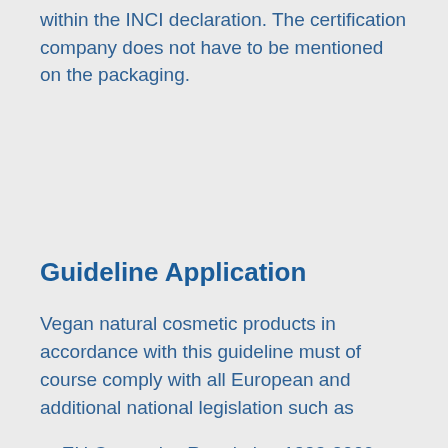within the INCI declaration. The certification company does not have to be mentioned on the packaging.
Guideline Application
Vegan natural cosmetic products in accordance with this guideline must of course comply with all European and additional national legislation such as
EU Cosmetics Regulation 1223-2009